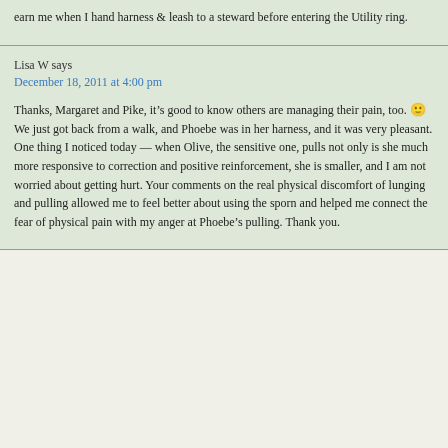earn me when I hand harness & leash to a steward before entering the Utility ring.
Lisa W says
December 18, 2011 at 4:00 pm
Thanks, Margaret and Pike, it’s good to know others are managing their pain, too. 🙂 We just got back from a walk, and Phoebe was in her harness, and it was very pleasant. One thing I noticed today — when Olive, the sensitive one, pulls not only is she much more responsive to correction and positive reinforcement, she is smaller, and I am not worried about getting hurt. Your comments on the real physical discomfort of lunging and pulling allowed me to feel better about using the sporn and helped me connect the fear of physical pain with my anger at Phoebe’s pulling. Thank you.